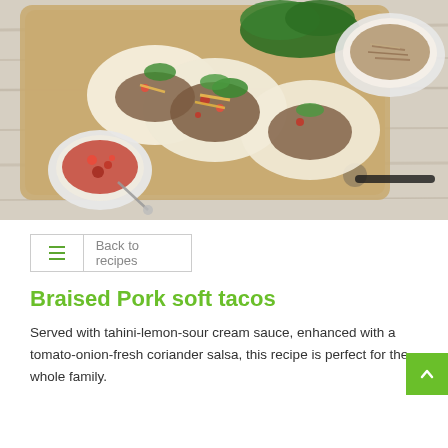[Figure (photo): Overhead view of braised pork soft tacos on a wooden cutting board, with bowls of salsa and shredded pork, fresh coriander garnish, on a wooden surface.]
Back to recipes
Braised Pork soft tacos
Served with tahini-lemon-sour cream sauce, enhanced with a tomato-onion-fresh coriander salsa, this recipe is perfect for the whole family.